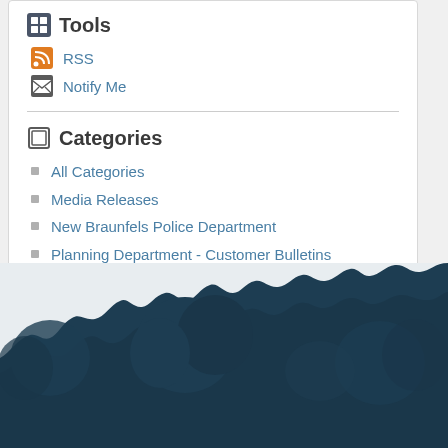Tools
RSS
Notify Me
Categories
All Categories
Media Releases
New Braunfels Police Department
Planning Department - Customer Bulletins
[Figure (illustration): Dark teal silhouette of trees and foliage forming a decorative footer banner]